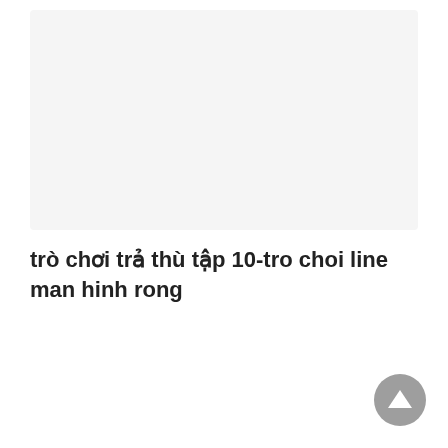[Figure (other): Light gray rectangular image placeholder area]
trò chơi trả thù tập 10-tro choi line man hinh rong
[Figure (other): Gray circular scroll-to-top button with upward arrow]